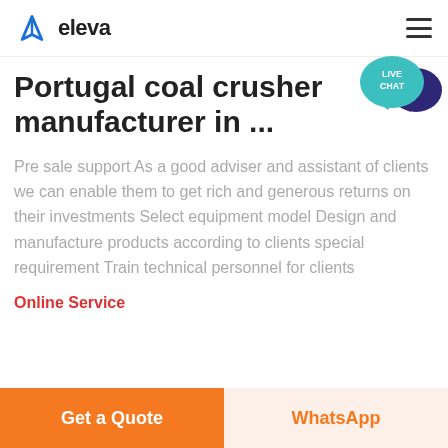eleva
Portugal coal crusher manufacturer in ...
Pre sale support As a good adviser and assistant of clients we can enable them to get rich and generous returns on their investments Select equipment model Design and manufacture products according to clients special requirement Train technical personnel for clients
Online Service
Get a Quote
WhatsApp